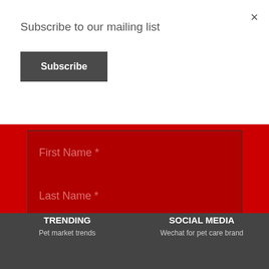×
Subscribe to our mailing list
Subscribe
First Name *
Last Name *
Subscribe Now
TRENDING
SOCIAL MEDIA
Pet market trends
Wechat for pet care brand